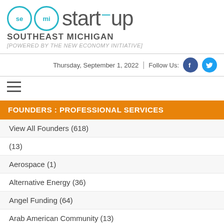[Figure (logo): SE MI Start-up Southeast Michigan logo with two teal circles labeled 'se' and 'mi' followed by 'start-up' text]
SOUTHEAST MICHIGAN
[POWERED BY THE NEW ECONOMY INITIATIVE]
Thursday, September 1, 2022  |  Follow Us:
[Figure (other): Hamburger menu icon (three horizontal lines)]
FOUNDERS : PROFESSIONAL SERVICES
View All Founders (618)
(13)
Aerospace (1)
Alternative Energy (36)
Angel Funding (64)
Arab American Community (13)
Asian Community (26)
Automotive/Manufacturing (24)